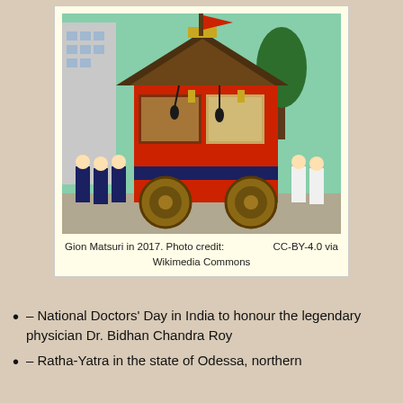[Figure (photo): A large ornate Japanese festival float (hoko) decorated in red and gold with intricate tapestries, a pagoda-style roof, and large wooden wheels, surrounded by participants in traditional dark blue and white festival clothing during Gion Matsuri 2017 in Kyoto, Japan.]
Gion Matsuri in 2017. Photo credit: 　　　　　　　 CC-BY-4.0 via Wikimedia Commons
– National Doctors' Day in India to honour the legendary physician Dr. Bidhan Chandra Roy
– Ratha-Yatra in the state of Odessa, northern